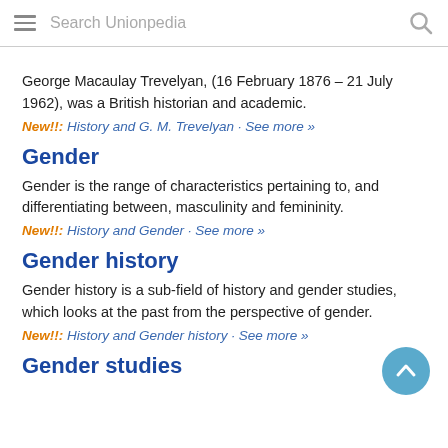Search Unionpedia
George Macaulay Trevelyan, (16 February 1876 – 21 July 1962), was a British historian and academic.
New!!: History and G. M. Trevelyan · See more »
Gender
Gender is the range of characteristics pertaining to, and differentiating between, masculinity and femininity.
New!!: History and Gender · See more »
Gender history
Gender history is a sub-field of history and gender studies, which looks at the past from the perspective of gender.
New!!: History and Gender history · See more »
Gender studies